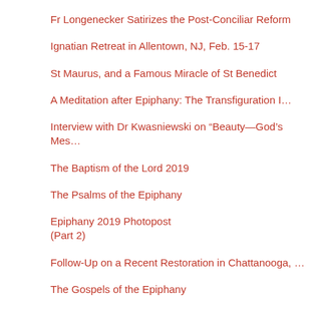Fr Longenecker Satirizes the Post-Conciliar Reform
Ignatian Retreat in Allentown, NJ, Feb. 15-17
St Maurus, and a Famous Miracle of St Benedict
A Meditation after Epiphany: The Transfiguration I…
Interview with Dr Kwasniewski on “Beauty—God’s Mes…
The Baptism of the Lord 2019
The Psalms of the Epiphany
Epiphany 2019 Photopost (Part 2)
Follow-Up on a Recent Restoration in Chattanooga, …
The Gospels of the Epiphany